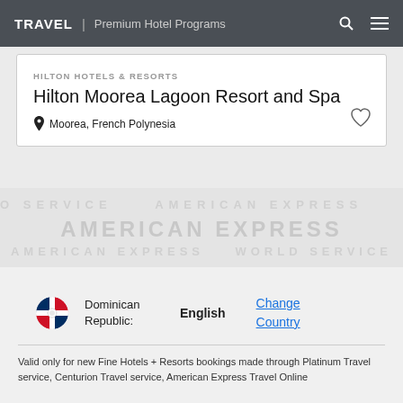TRAVEL | Premium Hotel Programs
HILTON HOTELS & RESORTS
Hilton Moorea Lagoon Resort and Spa
Moorea, French Polynesia
[Figure (logo): American Express watermark band with text AMERICAN EXPRESS WORLD SERVICE repeated]
Dominican Republic:
English
Change Country
Valid only for new Fine Hotels + Resorts bookings made through Platinum Travel service, Centurion Travel service, American Express Travel Online